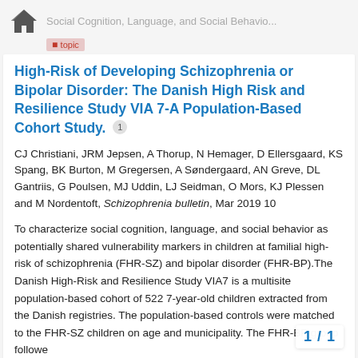Social Cognition, Language, and Social Behavior...
High-Risk of Developing Schizophrenia or Bipolar Disorder: The Danish High Risk and Resilience Study VIA 7-A Population-Based Cohort Study.
CJ Christiani, JRM Jepsen, A Thorup, N Hemager, D Ellersgaard, KS Spang, BK Burton, M Gregersen, A Søndergaard, AN Greve, DL Gantriis, G Poulsen, MJ Uddin, LJ Seidman, O Mors, KJ Plessen and M Nordentoft, Schizophrenia bulletin, Mar 2019 10
To characterize social cognition, language, and social behavior as potentially shared vulnerability markers in children at familial high-risk of schizophrenia (FHR-SZ) and bipolar disorder (FHR-BP).The Danish High-Risk and Resilience Study VIA7 is a multisite population-based cohort of 522 7-year-old children extracted from the Danish registries. The population-based controls were matched to the FHR-SZ children on age and municipality. The FHR-BP group followe